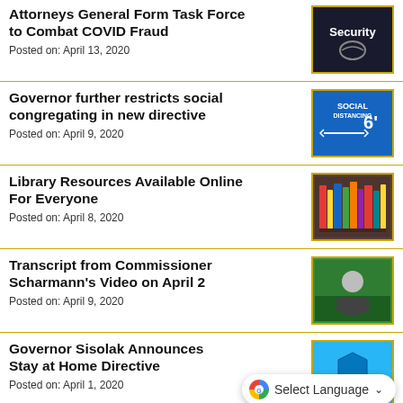Attorneys General Form Task Force to Combat COVID Fraud
Posted on: April 13, 2020
Governor further restricts social congregating in new directive
Posted on: April 9, 2020
Library Resources Available Online For Everyone
Posted on: April 8, 2020
Transcript from Commissioner Scharmann's Video on April 2
Posted on: April 9, 2020
Governor Sisolak Announces Stay at Home Directive
Posted on: April 1, 2020
Target Shooting Injures Dirt Bike...